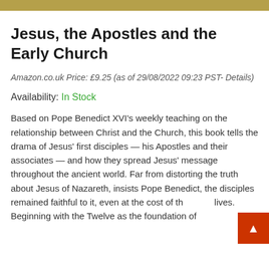Jesus, the Apostles and the Early Church
Amazon.co.uk Price: £9.25 (as of 29/08/2022 09:23 PST- Details)
Availability: In Stock
Based on Pope Benedict XVI's weekly teaching on the relationship between Christ and the Church, this book tells the drama of Jesus' first disciples — his Apostles and their associates — and how they spread Jesus' message throughout the ancient world. Far from distorting the truth about Jesus of Nazareth, insists Pope Benedict, the disciples remained faithful to it, even at the cost of their lives. Beginning with the Twelve as the foundation of